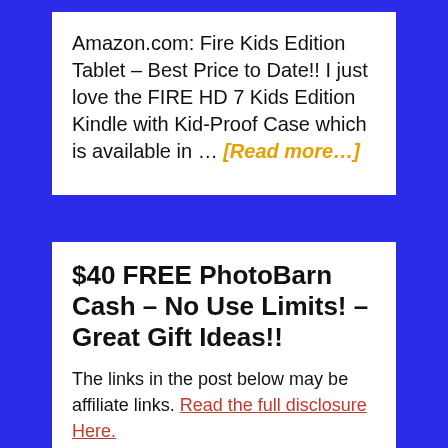Amazon.com: Fire Kids Edition Tablet – Best Price to Date!! I just love the FIRE HD 7 Kids Edition Kindle with Kid-Proof Case which is available in … [Read more…]
$40 FREE PhotoBarn Cash – No Use Limits! – Great Gift Ideas!!
The links in the post below may be affiliate links. Read the full disclosure Here.
OCTOBER 20, 2016 by LAURIE — Leave a Comment
[Figure (other): Partial image thumbnail and dollar sign visible at bottom of page]